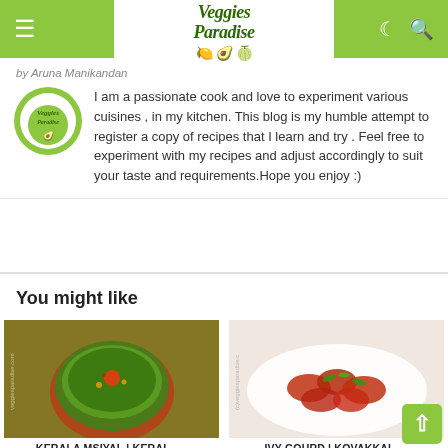Veggies Paradise
by Aruna Manikandan
I am a passionate cook and love to experiment various cuisines , in my kitchen. This blog is my humble attempt to register a copy of recipes that I learn and try . Feel free to experiment with my recipes and adjust accordingly to suit your taste and requirements.Hope you enjoy :)
You might like
[Figure (photo): Bowl of green curry/chutney dish on a wooden board]
KERALA MSIYAL | KERAL...
[Figure (photo): Spicy red dish in a white plate]
IVY GOURD | KOVAKKAI...